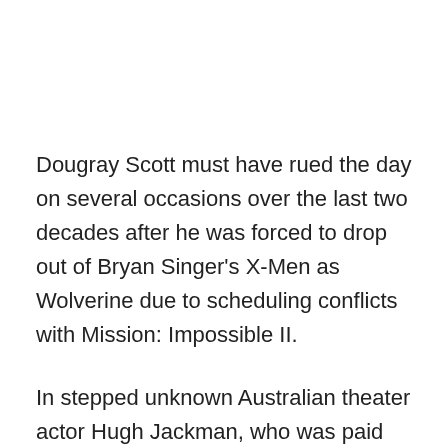Dougray Scott must have rued the day on several occasions over the last two decades after he was forced to drop out of Bryan Singer's X-Men as Wolverine due to scheduling conflicts with Mission: Impossible II.
In stepped unknown Australian theater actor Hugh Jackman, who was paid $500,000 for boarding the cast two weeks after shooting had already started, and went on to become an icon.